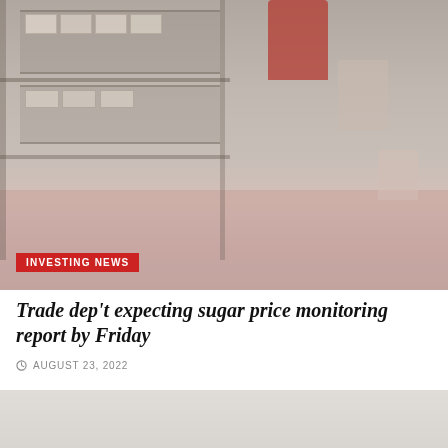[Figure (photo): A market stall or warehouse shelf with packaged goods (sugar bags and other products). A person's hand is visible holding a container. Red equipment visible at top. Pink fabric/cloth in foreground. Faded, desaturated color tones.]
INVESTING NEWS
Trade dep't expecting sugar price monitoring report by Friday
AUGUST 23, 2022
[Figure (photo): Partial second image, mostly white/light gray, bottom of page]